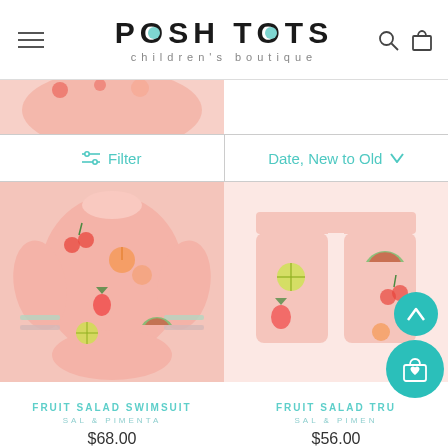[Figure (logo): Posh Tots children's boutique logo with teal circle dots in the O letters]
Filter
Date, New to Old
[Figure (photo): Pink fruit salad print swimsuit/neoprene piece on white background]
FRUIT SALAD SWIMSUIT
SAL & PIMENTA
$68.00
[Figure (photo): Pink fruit salad print swim trunks/shorts on white background]
FRUIT SALAD TRU...
SAL & PIMEN...
$56.00